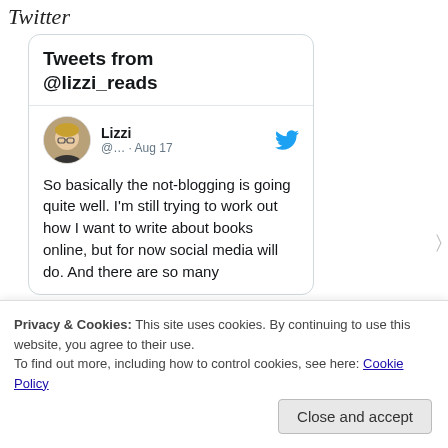Twitter
Tweets from @lizzi_reads
Lizzi @... · Aug 17
So basically the not-blogging is going quite well. I'm still trying to work out how I want to write about books online, but for now social media will do. And there are so many
Privacy & Cookies: This site uses cookies. By continuing to use this website, you agree to their use.
To find out more, including how to control cookies, see here: Cookie Policy
Close and accept